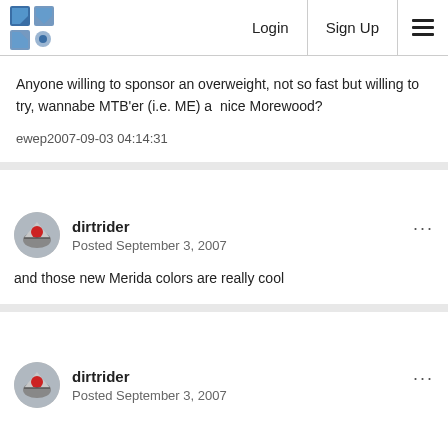Login  Sign Up
Anyone willing to sponsor an overweight, not so fast but willing to try, wannabe MTB'er (i.e. ME) a  nice Morewood?
ewep2007-09-03 04:14:31
dirtrider
Posted September 3, 2007
and those new Merida colors are really cool
dirtrider
Posted September 3, 2007